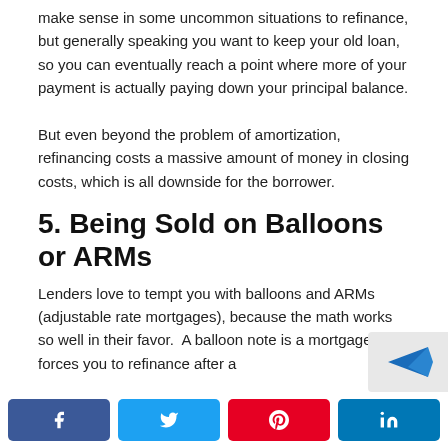make sense in some uncommon situations to refinance, but generally speaking you want to keep your old loan, so you can eventually reach a point where more of your payment is actually paying down your principal balance.
But even beyond the problem of amortization, refinancing costs a massive amount of money in closing costs, which is all downside for the borrower.
5. Being Sold on Balloons or ARMs
Lenders love to tempt you with balloons and ARMs (adjustable rate mortgages), because the math works so well in their favor.  A balloon note is a mortgage that forces you to refinance after a